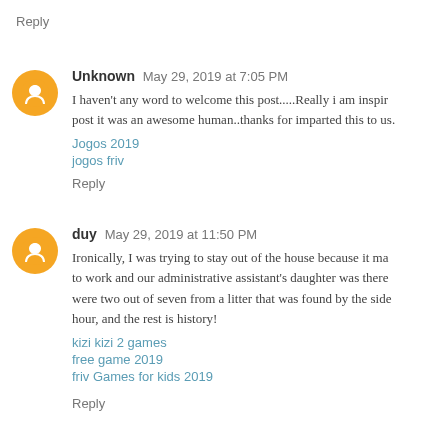Reply
Unknown May 29, 2019 at 7:05 PM
I haven't any word to welcome this post.....Really i am inspired from this post it was an awesome human..thanks for imparted this to us.
Jogos 2019
jogos friv
Reply
duy May 29, 2019 at 11:50 PM
Ironically, I was trying to stay out of the house because it made me want to work and our administrative assistant's daughter was there and they were two out of seven from a litter that was found by the side of the road an hour, and the rest is history!
kizi kizi 2 games
free game 2019
friv Games for kids 2019
Reply